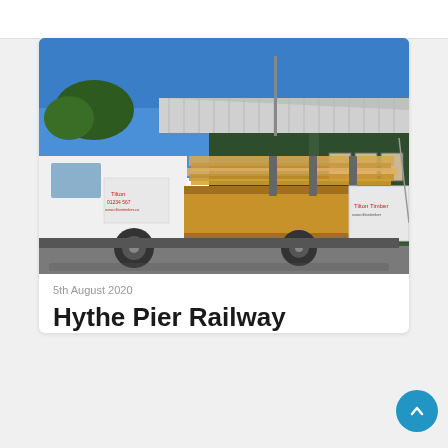[Figure (photo): White flatbed truck loaded with long timber planks, parked in front of a corrugated metal warehouse building under a clear blue sky. The truck has red text branding on the door and tailboard reading 'Tilton Timber'.]
5th August 2020
Hythe Pier Railway